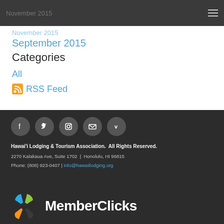November 2015
November 2015
September 2015
Categories
All
RSS Feed
[Figure (infographic): Social media icons: Facebook, Twitter, Instagram, Email, Vimeo in dark circular buttons]
Hawai'i Lodging & Tourism Association.  All Rights Reserved.
2270 Kalakaua Ave, Suite 1702  |  Honolulu, HI 96815
Phone: (808) 923-0407  |  info@hawaiilodging.org
[Figure (logo): MemberClicks logo with colorful icon and white text]